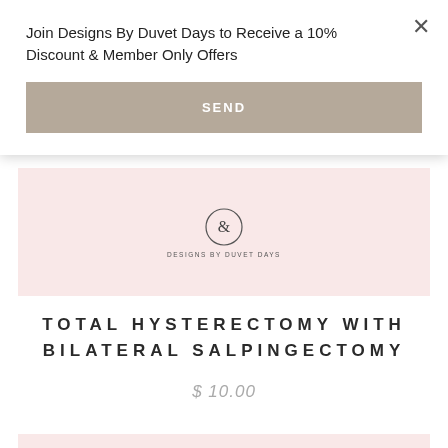Join Designs By Duvet Days to Receive a 10% Discount & Member Only Offers
SEND
[Figure (logo): Designs By Duvet Days logo: ampersand symbol in a circle with brand name below, on a pink background]
TOTAL HYSTERECTOMY WITH BILATERAL SALPINGECTOMY
$ 10.00